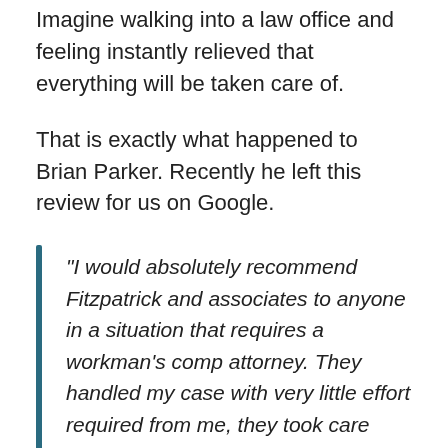Imagine walking into a law office and feeling instantly relieved that everything will be taken care of.
That is exactly what happened to Brian Parker. Recently he left this review for us on Google.
“I would absolutely recommend Fitzpatrick and associates to anyone in a situation that requires a workman’s comp attorney. They handled my case with very little effort required from me, they took care about of everything. In the end I received way more compensation than I expected. Give them